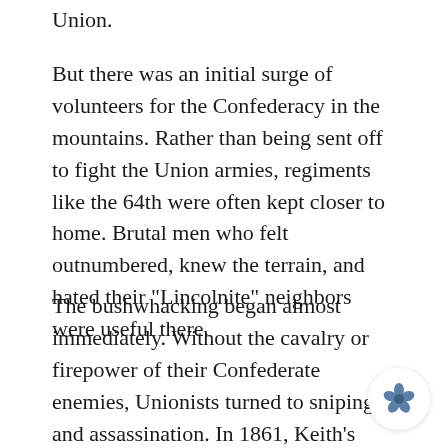Union.
But there was an initial surge of volunteers for the Confederacy in the mountains. Rather than being sent off to fight the Union armies, regiments like the 64th were often kept closer to home. Brutal men who felt outnumbered, knew the terrain, and hated their "Lincolnite" neighbors were useful there.
The bushwhacking began almost immediately. Without the cavalry or firepower of their Confederate enemies, Unionists turned to sniping and assassination. In 1861, Keith's nephew, just joined the 64th, was found dead.